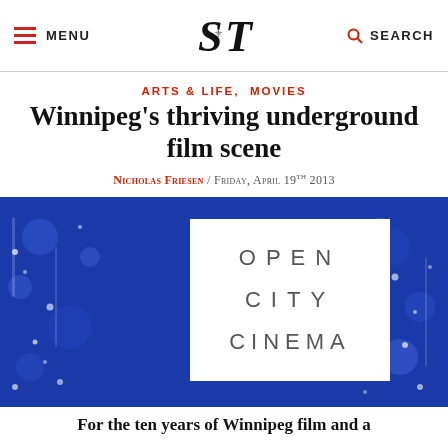MENU  S|T  SEARCH
ARTS & LIFE,  MOVIES
Winnipeg's thriving underground film scene
Nicholas Friesen / Friday, April 19th 2013
[Figure (logo): Open City Cinema logo: white square with gray spaced-out text reading OPEN CITY CINEMA, set against a blurred blue background with white bokeh dots]
For the ten years of Winnipeg film and a